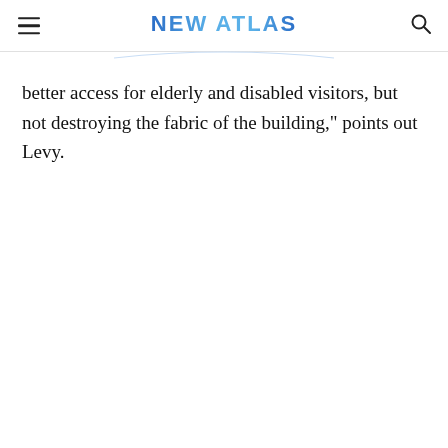NEW ATLAS
better access for elderly and disabled visitors, but not destroying the fabric of the building," points out Levy.